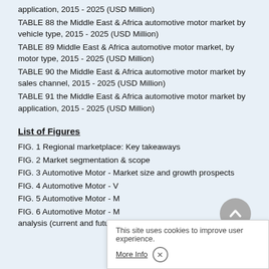application, 2015 - 2025 (USD Million)
TABLE 88 the Middle East & Africa automotive motor market by vehicle type, 2015 - 2025 (USD Million)
TABLE 89 Middle East & Africa automotive motor market, by motor type, 2015 - 2025 (USD Million)
TABLE 90 the Middle East & Africa automotive motor market by sales channel, 2015 - 2025 (USD Million)
TABLE 91 the Middle East & Africa automotive motor market by application, 2015 - 2025 (USD Million)
List of Figures
FIG. 1 Regional marketplace: Key takeaways
FIG. 2 Market segmentation & scope
FIG. 3 Automotive Motor - Market size and growth prospects
FIG. 4 Automotive Motor - V...
FIG. 5 Automotive Motor - M...
FIG. 6 Automotive Motor - M... analysis (current and future impact)